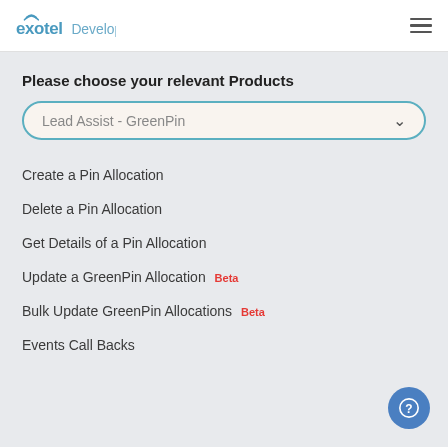exotel Developers
Please choose your relevant Products
Lead Assist - GreenPin
Create a Pin Allocation
Delete a Pin Allocation
Get Details of a Pin Allocation
Update a GreenPin Allocation Beta
Bulk Update GreenPin Allocations Beta
Events Call Backs